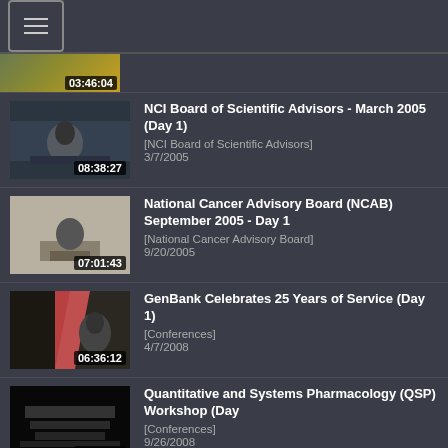[Figure (screenshot): App navigation header bar with hamburger menu icon]
[Figure (screenshot): Video thumbnail with duration 03:46:04]
[Figure (screenshot): Video thumbnail with duration 08:38:27]
NCI Board of Scientific Advisors - March 2005 (Day 1)
[NCI Board of Scientific Advisors]
3/7/2005
[Figure (screenshot): Video thumbnail with duration 07:01:43]
National Cancer Advisory Board (NCAB) September 2005 - Day 1
[National Cancer Advisory Board]
9/20/2005
[Figure (screenshot): Video thumbnail with duration 06:36:12]
GenBank Celebrates 25 Years of Service (Day 1)
[Conferences]
4/7/2008
[Figure (screenshot): Video thumbnail with duration 05:31:47]
Quantitative and Systems Pharmacology (QSP) Workshop (Day
[Conferences]
9/26/2008
[Figure (screenshot): Video thumbnail partially visible at bottom]
Personal Electronic Health Records: